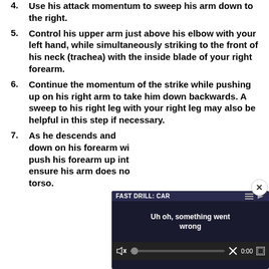4.   Use his attack momentum to sweep his arm down to the right.
5.   Control his upper arm just above his elbow with your left hand, while simultaneously striking to the front of his neck (trachea) with the inside blade of your right forearm.
6.   Continue the momentum of the strike while pushing up on his right arm to take him down backwards. A sweep to his right leg with your right leg may also be helpful in this step if necessary.
7.   As he descends and [text obscured by video overlay] down on his forearm with [obscured] push his forearm up into [obscured] ensure his arm does not [obscured] torso.
[Figure (screenshot): Video player overlay showing 'FAST DRILL: CAR' title with error message 'Uh oh, something went wrong'. Controls show mute button, progress bar, X button, timestamp 0:00, and fullscreen button. Dark blue/navy background. Close (x) button in top right corner.]